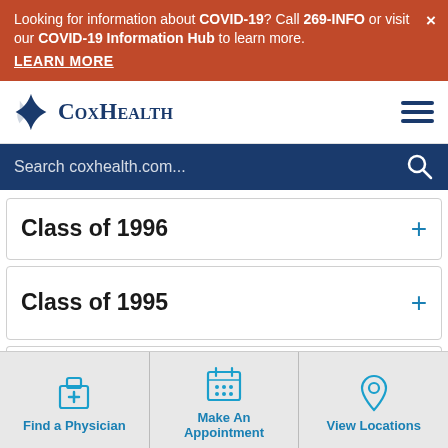Looking for information about COVID-19? Call 269-INFO or visit our COVID-19 Information Hub to learn more. ×
LEARN MORE
[Figure (logo): CoxHealth logo with four-pointed star and text CoxHealth]
Search coxhealth.com...
Class of 1996 +
Class of 1995 +
Class of 1994 +
Find a Physician
Make An Appointment
View Locations